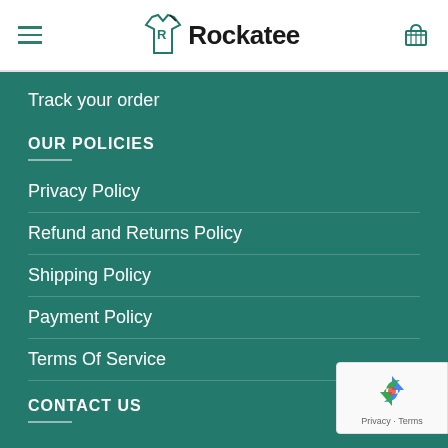Rockatee
Track your order
OUR POLICIES
Privacy Policy
Refund and Returns Policy
Shipping Policy
Payment Policy
Terms Of Service
CONTACT US
[Figure (logo): reCAPTCHA badge with Privacy and Terms links]